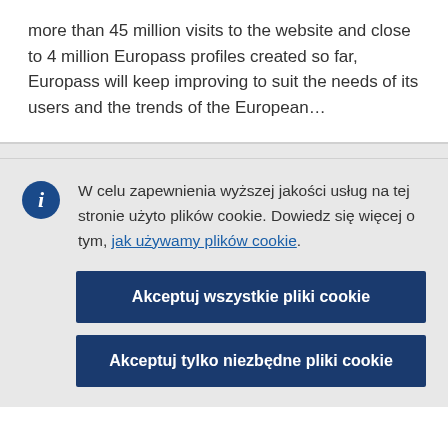more than 45 million visits to the website and close to 4 million Europass profiles created so far, Europass will keep improving to suit the needs of its users and the trends of the European…
W celu zapewnienia wyższej jakości usług na tej stronie użyto plików cookie. Dowiedz się więcej o tym, jak używamy plików cookie.
Akceptuj wszystkie pliki cookie
Akceptuj tylko niezbędne pliki cookie